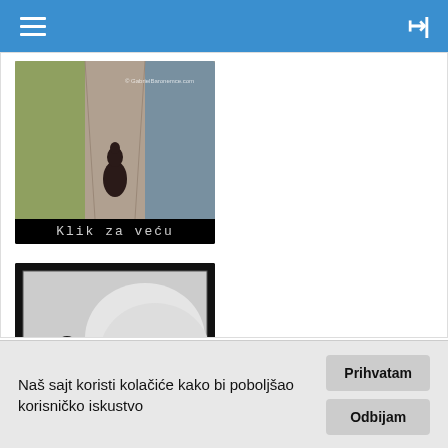Navigation bar with hamburger menu and right icon
[Figure (photo): A dog sitting alone on a road viewed from behind, with text 'Klik za veću' at the bottom]
[Figure (photo): A motivational poster with a black dog/animal, text 'LOYALTY' and 'Sometimes words alone can not describe it', with 'Klik za veću' at the bottom]
Naš sajt koristi kolačiće kako bi poboljšao korisničko iskustvo
Prihvatam
Odbijam